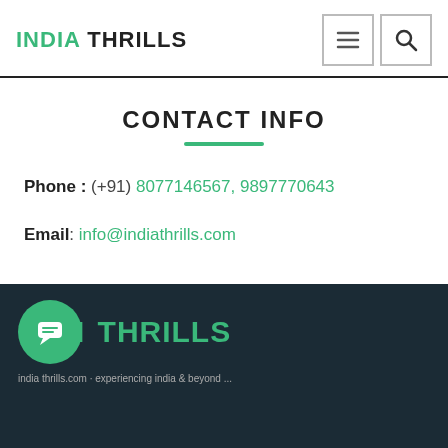INDIA THRILLS
CONTACT INFO
Phone : (+91) 8077146567, 9897770643
Email: info@indiathrills.com
INDIA THRILLS